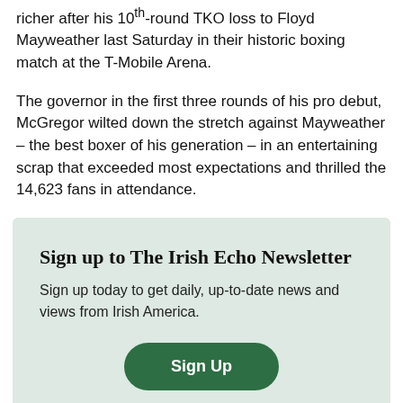richer after his 10th-round TKO loss to Floyd Mayweather last Saturday in their historic boxing match at the T-Mobile Arena.
The governor in the first three rounds of his pro debut, McGregor wilted down the stretch against Mayweather – the best boxer of his generation – in an entertaining scrap that exceeded most expectations and thrilled the 14,623 fans in attendance.
Sign up to The Irish Echo Newsletter
Sign up today to get daily, up-to-date news and views from Irish America.